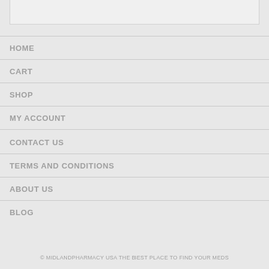[Figure (screenshot): Top white/light box element, partial website header]
HOME
CART
SHOP
MY ACCOUNT
CONTACT US
TERMS AND CONDITIONS
ABOUT US
BLOG
© MIDLANDPHARMACY USA THE BEST PLACE TO FIND YOUR MEDS